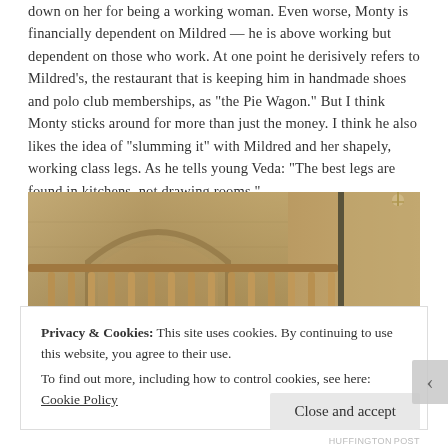down on her for being a working woman. Even worse, Monty is financially dependent on Mildred — he is above working but dependent on those who work. At one point he derisively refers to Mildred's, the restaurant that is keeping him in handmade shoes and polo club memberships, as "the Pie Wagon." But I think Monty sticks around for more than just the money. I think he also likes the idea of "slumming it" with Mildred and her shapely, working class legs. As he tells young Veda: "The best legs are found in kitchens, not drawing rooms."
[Figure (photo): Interior photo showing an ornate staircase with decorative balusters and arched architectural details in warm golden-brown tones.]
Privacy & Cookies: This site uses cookies. By continuing to use this website, you agree to their use.
To find out more, including how to control cookies, see here: Cookie Policy
Close and accept